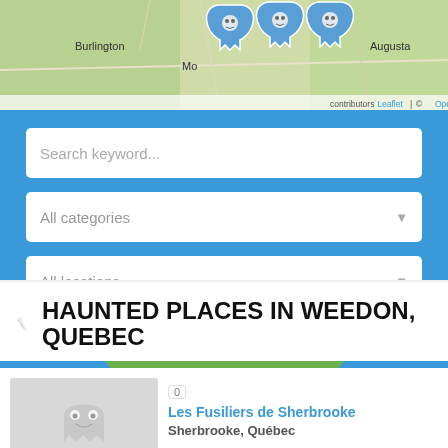[Figure (map): Leaflet/OpenStreetMap showing Burlington, Augusta, and Montreal area with ghost-style map markers. Attribution: Leaflet | © OpenStreetMap contributors]
Search keyword...
All categories
All locations
SEARCH
HAUNTED PLACES IN WEEDON, QUEBEC
Les Fusiliers de Sherbrooke
Sherbrooke, Québec